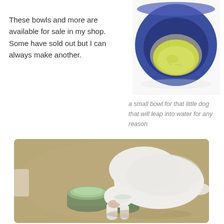These bowls and more are available for sale in my shop. Some have sold out but I can always make another.
[Figure (photo): A small blue ceramic bowl containing a smaller yellow-green bowl, photographed from above on a white background.]
a small bowl for that little dog that will leap into water for any reason
[Figure (photo): A white cat drinking from a small green ceramic bowl on a beige rug, next to another slightly larger green ceramic bowl.]